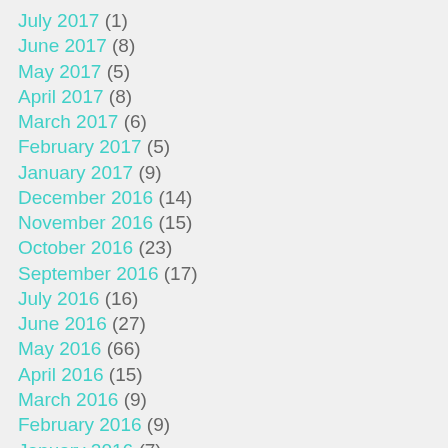July 2017 (1)
June 2017 (8)
May 2017 (5)
April 2017 (8)
March 2017 (6)
February 2017 (5)
January 2017 (9)
December 2016 (14)
November 2016 (15)
October 2016 (23)
September 2016 (17)
July 2016 (16)
June 2016 (27)
May 2016 (66)
April 2016 (15)
March 2016 (9)
February 2016 (9)
January 2016 (7)
December 2015 (9)